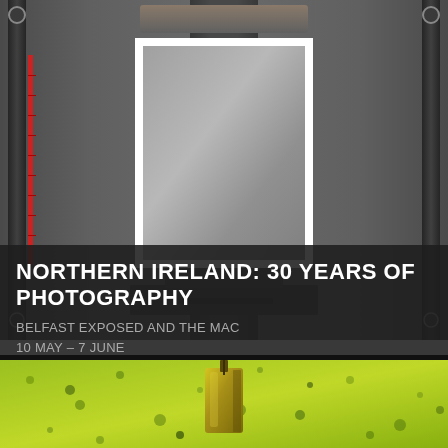[Figure (photo): Photograph of a darkroom photographic enlarger with a large gray photo paper mounted in an easel, metal rails on sides with knobs, and a red measuring strip on the left side. Dark gray background.]
NORTHERN IRELAND: 30 YEARS OF PHOTOGRAPHY
BELFAST EXPOSED AND THE MAC
10 MAY – 7 JUNE
OPENING NIGHT THURSDAY 9 MAY, 7-9PM
MORE INFO
[Figure (photo): Close-up photograph of a glass bottle or container on a speckled green and yellow background, with liquid dripping or pouring.]